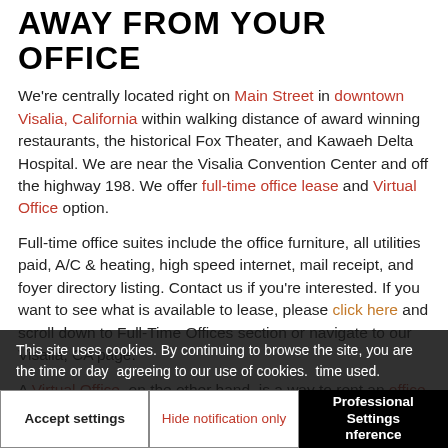AWAY FROM YOUR OFFICE
We're centrally located right on Main Street in downtown Visalia, California within walking distance of award winning restaurants, the historical Fox Theater, and Kawaeh Delta Hospital. We are near the Visalia Convention Center and off the highway 198. We offer full-time office lease and Virtual Office option.
Full-time office suites include the office furniture, all utilities paid, A/C & heating, high speed internet, mail receipt, and foyer directory listing. Contact us if you're interested. If you want to see what is available to lease, please click here and scroll down to Full-Time Offices section or navigate to our Visalia, CA page.
A Virtual Office, on the other hand, is a way to rent an office space or conference room for a fraction of the price of the time or day agreeing to our use of cookies. time used.
This site uses cookies. By continuing to browse the site, you are agreeing to our use of cookies.
Accept settings   Hide notification only   Settings
room. We have a variety of spaces available and features to